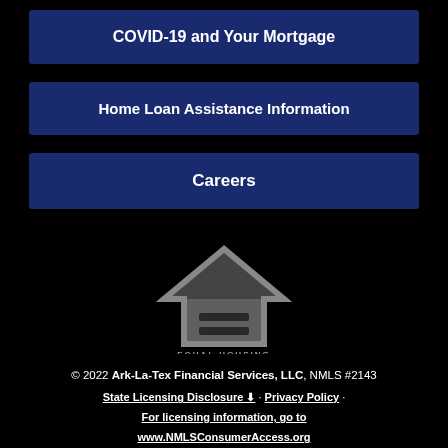COVID-19 and Your Mortgage
Home Loan Assistance Information
Careers
[Figure (logo): Equal Housing Opportunity logo with house icon and text]
© 2022 Ark-La-Tex Financial Services, LLC, NMLS #2143
State Licensing Disclosure ⬇ · Privacy Policy · For licensing information, go to www.NMLSConsumerAccess.org
· California Resident — Your Privacy Rights ⬇
[Figure (illustration): Social media icons row (Facebook, LinkedIn, Twitter/X, YouTube, Instagram, and others)]